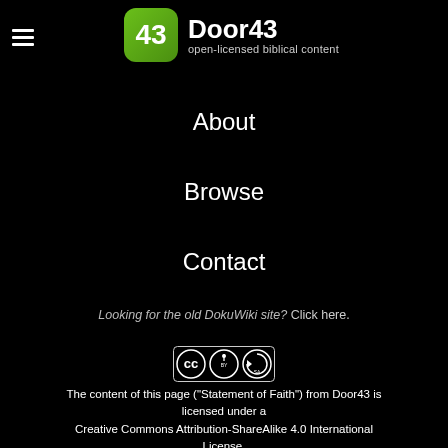Door43 open-licensed biblical content
About
Browse
Contact
Looking for the old DokuWiki site? Click here.
[Figure (logo): Creative Commons BY-SA license badge]
The content of this page ("Statement of Faith") from Door43 is licensed under a Creative Commons Attribution-ShareAlike 4.0 International License.